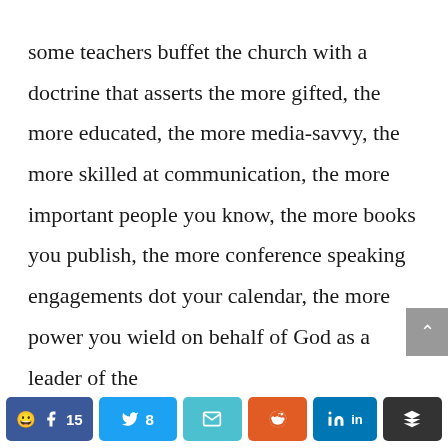some teachers buffet the church with a doctrine that asserts the more gifted, the more educated, the more media-savvy, the more skilled at communication, the more important people you know, the more books you publish, the more conference speaking engagements dot your calendar, the more power you wield on behalf of God as a leader of the church. You s...